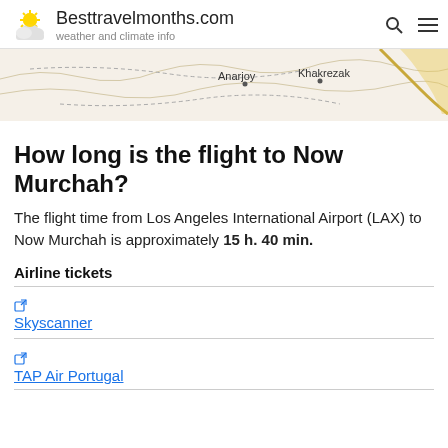Besttravelmonths.com — weather and climate info
[Figure (map): Topographic map showing locations of Anarjoy and Khakrezak]
How long is the flight to Now Murchah?
The flight time from Los Angeles International Airport (LAX) to Now Murchah is approximately 15 h. 40 min.
Airline tickets
Skyscanner
TAP Air Portugal